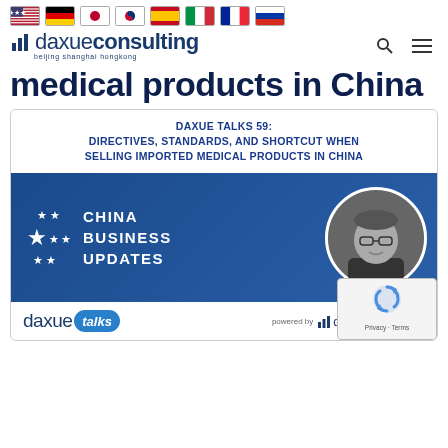[Figure (screenshot): Navigation bar with country flag icons (US, Germany, Japan, South Korea, Spain, Italy, France, Russia)]
[Figure (logo): Daxue Consulting logo with bar chart icon and text 'daxueconsulting', subtext 'beijing shanghai hongkong']
medical products in China
[Figure (infographic): Card with Daxue Talks 59 podcast thumbnail. Title reads: DAXUE TALKS 59: DIRECTIVES, STANDARDS, AND SHORTCUT WHEN SELLING IMPORTED MEDICAL PRODUCTS IN CHINA. Blue banner with EU-style stars, text CHINA BUSINESS UPDATES, and circular black-and-white headshot of a man. Bottom shows daxue talks logo and powered by daxueconsulting.]